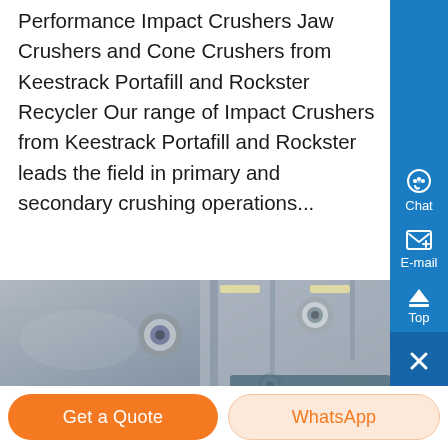Performance Impact Crushers Jaw Crushers and Cone Crushers from Keestrack Portafill and Rockster Recycler Our range of Impact Crushers from Keestrack Portafill and Rockster leads the field in primary and secondary crushing operations...
[Figure (photo): Close-up photo of industrial crusher machinery showing metal bolts and industrial equipment in a warehouse setting]
Get a Quote
WhatsApp